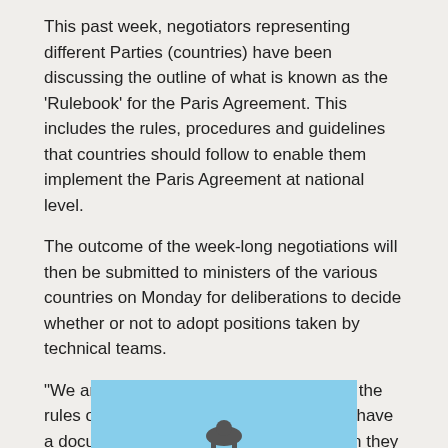This past week, negotiators representing different Parties (countries) have been discussing the outline of what is known as the ‘Rulebook’ for the Paris Agreement. This includes the rules, procedures and guidelines that countries should follow to enable them implement the Paris Agreement at national level.
The outcome of the week-long negotiations will then be submitted to ministers of the various countries on Monday for deliberations to decide whether or not to adopt positions taken by technical teams.
“We are hoping that we will finish drafting the rules of implementation today, so that we have a document to show to the ministers when they arrive for political engagements next week,” said Osafo.
[Figure (photo): Partial photo showing a light blue sky background with a silhouette or figure visible at the bottom edge, partially cropped.]